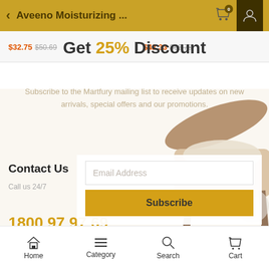Aveeno Moisturizing ...
$32.75  $50.69     $42.33  $66.78
Get 25% Discount
Subscribe to the Martfury mailing list to receive updates on new arrivals, special offers and our promotions.
Email Address
Contact Us
Call us 24/7
Subscribe
1800 97 97 69
502 New Design Str, Melbourne, Australia
Home  Category  Search  Cart